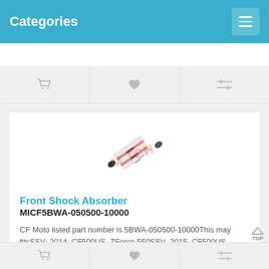Categories
[Figure (screenshot): Navigation icons row: shopping cart, heart/favorite, filter/sliders icons on gray background]
[Figure (photo): Front shock absorber product image — red, black and white coil-over shock absorber at an angle, with a faint watermark overlay reading 'MATCH']
Front Shock Absorber MICF5BWA-050500-10000
CF Moto listed part number is 5BWA-050500-10000This may fitsSSV  2014  CF500US  ZForce 550SSV  2015  CF500US  ZForce 550..
$116.67
Navigation row with shopping cart, heart, and filter icons; TOP button